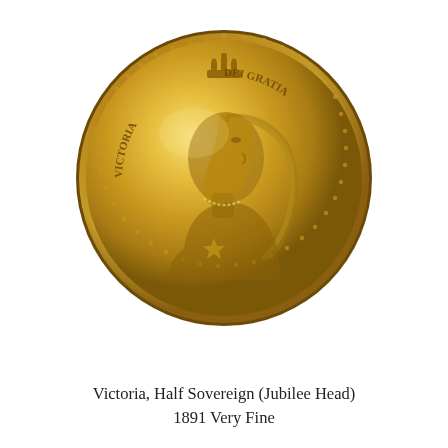[Figure (photo): Photograph of a gold Victorian half sovereign coin showing the Jubilee Head portrait of Queen Victoria facing left, wearing a crown and veil, with the inscription 'VICTORIA DEI GRATIA' around the edge.]
Victoria, Half Sovereign (Jubilee Head)
1891 Very Fine